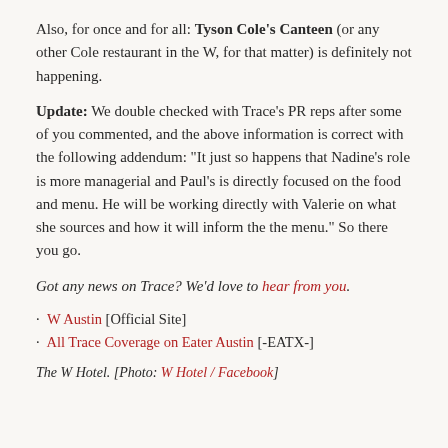Also, for once and for all: Tyson Cole's Canteen (or any other Cole restaurant in the W, for that matter) is definitely not happening.
Update: We double checked with Trace's PR reps after some of you commented, and the above information is correct with the following addendum: "It just so happens that Nadine's role is more managerial and Paul's is directly focused on the food and menu. He will be working directly with Valerie on what she sources and how it will inform the the menu." So there you go.
Got any news on Trace? We'd love to hear from you.
· W Austin [Official Site]
· All Trace Coverage on Eater Austin [-EATX-]
The W Hotel. [Photo: W Hotel / Facebook]